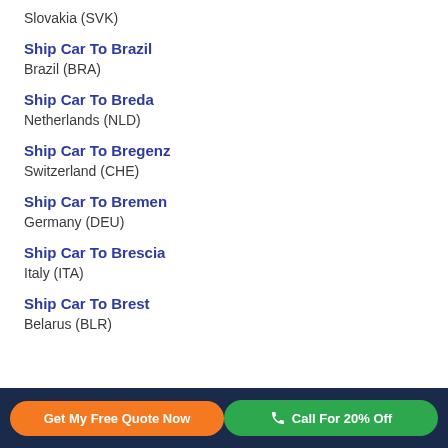Slovakia (SVK)
Ship Car To Brazil
Brazil (BRA)
Ship Car To Breda
Netherlands (NLD)
Ship Car To Bregenz
Switzerland (CHE)
Ship Car To Bremen
Germany (DEU)
Ship Car To Brescia
Italy (ITA)
Ship Car To Brest
Belarus (BLR)
Get My Free Quote Now | Call For 20% Off